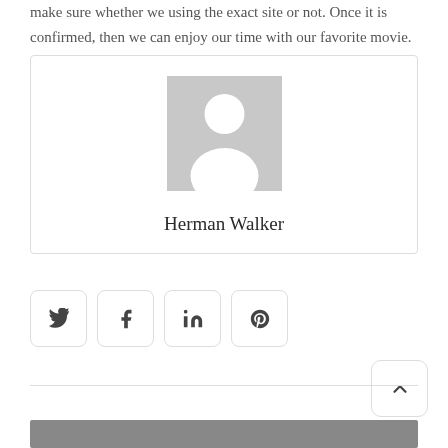make sure whether we using the exact site or not. Once it is confirmed, then we can enjoy our time with our favorite movie.
[Figure (illustration): Author profile card with grey placeholder avatar silhouette and name 'Herman Walker' below]
Herman Walker
[Figure (other): Four social media icon buttons in rounded square borders: Twitter, Facebook, LinkedIn, Pinterest]
[Figure (other): Back to top button with upward chevron arrow, rounded square border, positioned at bottom right]
[Figure (photo): Partial photo visible at very bottom of page]